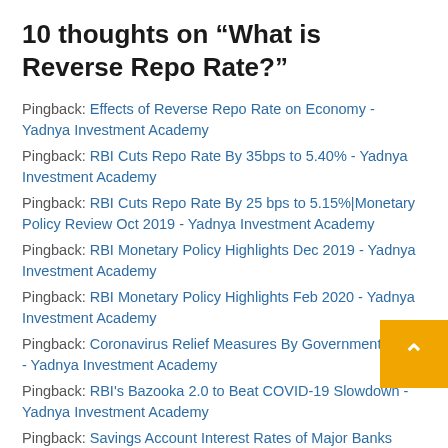10 thoughts on “What is Reverse Repo Rate?”
Pingback: Effects of Reverse Repo Rate on Economy - Yadnya Investment Academy
Pingback: RBI Cuts Repo Rate By 35bps to 5.40% - Yadnya Investment Academy
Pingback: RBI Cuts Repo Rate By 25 bps to 5.15%|Monetary Policy Review Oct 2019 - Yadnya Investment Academy
Pingback: RBI Monetary Policy Highlights Dec 2019 - Yadnya Investment Academy
Pingback: RBI Monetary Policy Highlights Feb 2020 - Yadnya Investment Academy
Pingback: Coronavirus Relief Measures By Government & RBI - Yadnya Investment Academy
Pingback: RBI's Bazooka 2.0 to Beat COVID-19 Slowdown - Yadnya Investment Academy
Pingback: Savings Account Interest Rates of Major Banks (May 2020) - Yadnya Investment Academy
Pingback: Latest Savings Account Interest Rates of Major Banks - Yadnya Investment Academy